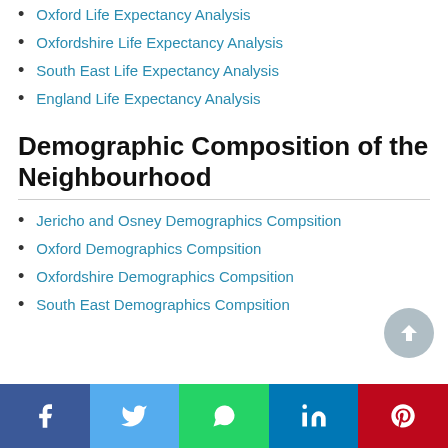Oxford Life Expectancy Analysis
Oxfordshire Life Expectancy Analysis
South East Life Expectancy Analysis
England Life Expectancy Analysis
Demographic Composition of the Neighbourhood
Jericho and Osney Demographics Compsition
Oxford Demographics Compsition
Oxfordshire Demographics Compsition
South East Demographics Compsition